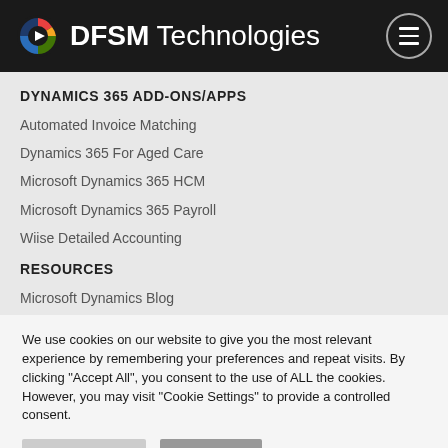DFSM Technologies
DYNAMICS 365 ADD-ONS/APPS
Automated Invoice Matching
Dynamics 365 For Aged Care
Microsoft Dynamics 365 HCM
Microsoft Dynamics 365 Payroll
Wiise Detailed Accounting
RESOURCES
Microsoft Dynamics Blog
We use cookies on our website to give you the most relevant experience by remembering your preferences and repeat visits. By clicking "Accept All", you consent to the use of ALL the cookies. However, you may visit "Cookie Settings" to provide a controlled consent.